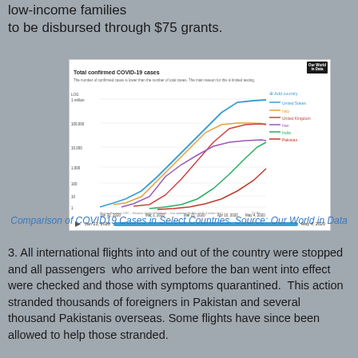low-income families to be disbursed through $75 grants.
[Figure (line-chart): Log scale line chart showing total confirmed COVID-19 cases from Jan 30, 2020 to May 4, 2020 for United States, Italy, United Kingdom, Iran, India, and Pakistan. Source: Our World in Data.]
Comparison of COVID19 Cases in Select Countries. Source: Our World in Data
3. All international flights into and out of the country were stopped and all passengers  who arrived before the ban went into effect were checked and those with symptoms quarantined.  This action stranded thousands of foreigners in Pakistan and several thousand Pakistanis overseas. Some flights have since been allowed to help those stranded.